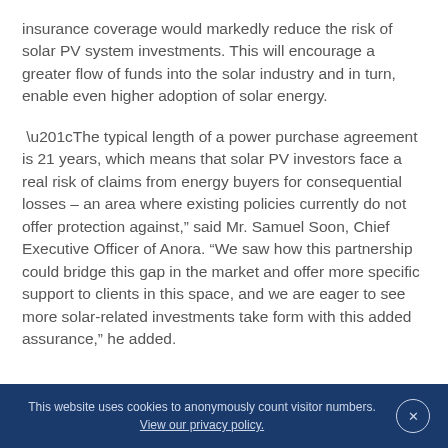insurance coverage would markedly reduce the risk of solar PV system investments. This will encourage a greater flow of funds into the solar industry and in turn, enable even higher adoption of solar energy.
“The typical length of a power purchase agreement is 21 years, which means that solar PV investors face a real risk of claims from energy buyers for consequential losses – an area where existing policies currently do not offer protection against,” said Mr. Samuel Soon, Chief Executive Officer of Anora. “We saw how this partnership could bridge this gap in the market and offer more specific support to clients in this space, and we are eager to see more solar-related investments take form with this added assurance,” he added.
This website uses cookies to anonymously count visitor numbers. View our privacy policy.